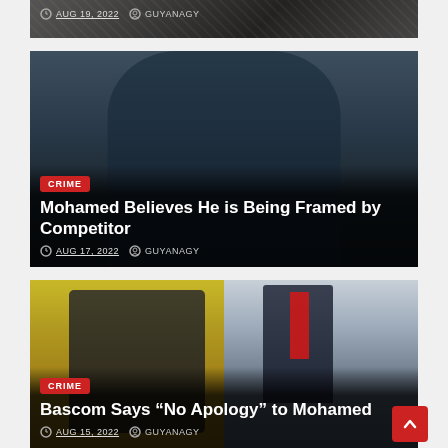[Figure (photo): Top strip of a previous article card showing a person's face, partially visible. Date: AUG 19, 2022, Author: GUYANAGY]
AUG 19, 2022   GUYANAGY
[Figure (photo): Man in dark teal double-breasted blazer standing outdoors, full article card with CRIME badge, headline, and metadata]
Mohamed Believes He is Being Framed by Competitor
AUG 17, 2022   GUYANAGY
[Figure (photo): Split photo: left side shows person in yellow shirt with tactical vest, right side shows man in suit with red tie. CRIME badge and headline visible.]
Bascom Says “No Apology” to Mohamed
AUG 15, 2022   GUYANAGY